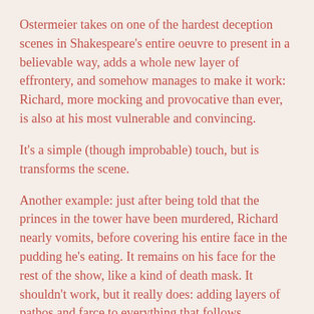Ostermeier takes on one of the hardest deception scenes in Shakespeare's entire oeuvre to present in a believable way, adds a whole new layer of effrontery, and somehow manages to make it work: Richard, more mocking and provocative than ever, is also at his most vulnerable and convincing.
It's a simple (though improbable) touch, but is transforms the scene.
Another example: just after being told that the princes in the tower have been murdered, Richard nearly vomits, before covering his entire face in the pudding he's eating. It remains on his face for the rest of the show, like a kind of death mask. It shouldn't work, but it really does: adding layers of pathos and farce to everything that follows.
Richard III is further proof of just how exceptional Ostermeier's work is. Few people make shows that are concurrently so truthful and so inventive. And few are able to transform classic texts so that they become so achingly